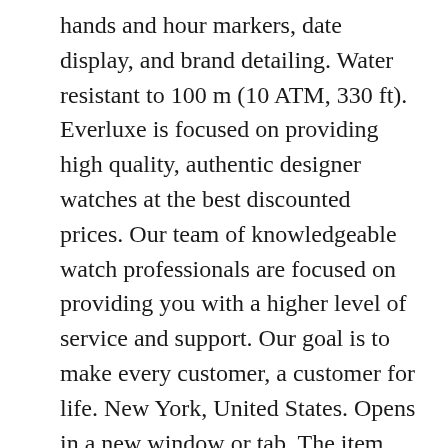hands and hour markers, date display, and brand detailing. Water resistant to 100 m (10 ATM, 330 ft). Everluxe is focused on providing high quality, authentic designer watches at the best discounted prices. Our team of knowledgeable watch professionals are focused on providing you with a higher level of service and support. Our goal is to make every customer, a customer for life. New York, United States. Opens in a new window or tab. The item must be. Please feel free to message us for any inquiries regarding our products and services. Send us a message. The item “NEW Victorinox Swiss Army Men’s